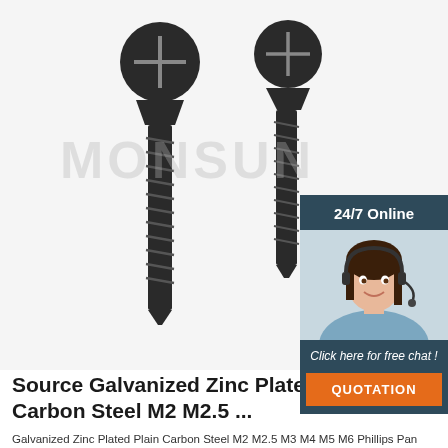[Figure (photo): Two black Phillips head self-tapping screws shown vertically against a light gray background, with MONSUN watermark text overlay. A chat widget on the right shows '24/7 Online' header, photo of a female customer service agent with headset, 'Click here for free chat!' text, and an orange QUOTATION button.]
Source Galvanized Zinc Plated Plain Carbon Steel M2 M2.5 ...
Galvanized Zinc Plated Plain Carbon Steel M2 M2.5 M3 M4 M5 M6 Phillips Pan Head Three Part Combination Sems Screws. You can get more details